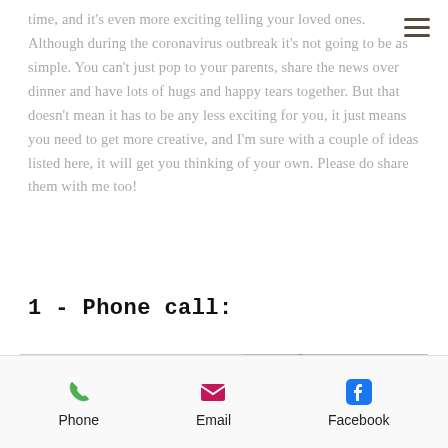time, and it's even more exciting telling your loved ones. Although during the coronavirus outbreak it's not going to be as simple. You can't just pop to your parents, share the news over dinner and have lots of hugs and happy tears together. But that doesn't mean it has to be any less exciting for you, it just means you need to get more creative, and I'm sure with a couple of ideas listed here, it will get you thinking of your own. Please do share them with me too!
1 - Phone call:
[Figure (photo): A person with dark hair seen from behind, sitting near a window. The wall has a pink mark on it. Gray/blue window and light wall visible.]
Phone  Email  Facebook